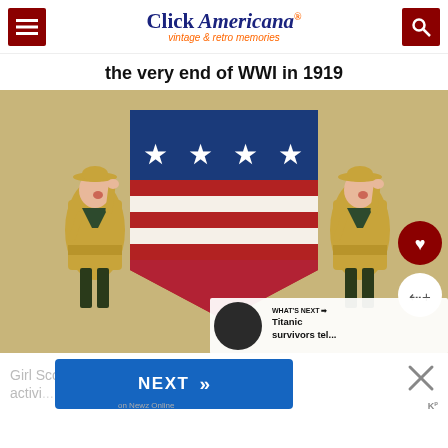Click Americana — vintage & retro memories
the very end of WWI in 1919
[Figure (illustration): Vintage illustration of two Girl Scouts in khaki uniforms saluting, standing in front of a large American shield with red and white stripes and white stars on blue, on a tan/beige background. Overlay buttons for heart/like and share. A 'WHAT'S NEXT' bar shows a thumbnail and text 'Titanic survivors tel...']
Girl Scouts ... ies, uniforms, activities ... download ...
NEXT — on Newz Online